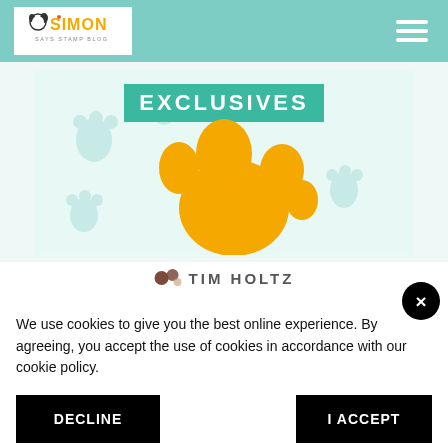Simon Says Stamp Blog
[Figure (illustration): Banner image with 'EXCLUSIVES' text and large orange paw print on teal/mint background with paw print watermarks]
TIM HOLTZ
We use cookies to give you the best online experience. By agreeing, you accept the use of cookies in accordance with our cookie policy.
DECLINE
I ACCEPT
Privacy Policy  Cookie Policy
[Figure (photo): Partial image at bottom showing 'crafty must-haves!' text on red/pink background]